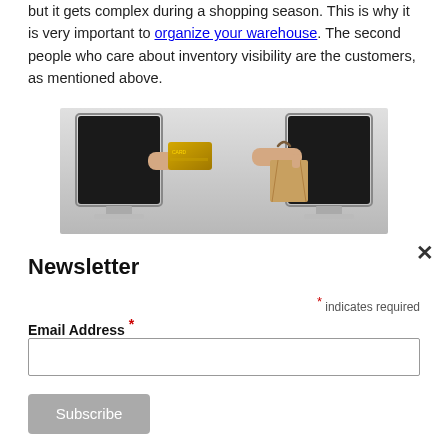but it gets complex during a shopping season. This is why it is very important to organize your warehouse. The second people who care about inventory visibility are the customers, as mentioned above.
[Figure (illustration): Two computer monitors facing each other. From the left monitor, a hand extends holding a gold credit card. From the right monitor, a hand extends holding a brown shopping bag, illustrating online shopping/e-commerce.]
Newsletter
* indicates required
Email Address *